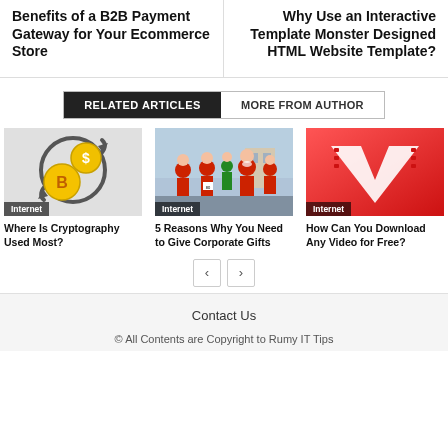Benefits of a B2B Payment Gateway for Your Ecommerce Store
Why Use an Interactive Template Monster Designed HTML Website Template?
RELATED ARTICLES
MORE FROM AUTHOR
[Figure (illustration): Cryptocurrency coins with Bitcoin symbol and arrows, with Internet badge]
Where Is Cryptography Used Most?
[Figure (photo): Group of people dressed as Santa Claus running in a race, with Internet badge]
5 Reasons Why You Need to Give Corporate Gifts
[Figure (logo): Red gradient background with white V-shaped filmstrip logo, with Internet badge]
How Can You Download Any Video for Free?
Contact Us
© All Contents are Copyright to Rumy IT Tips